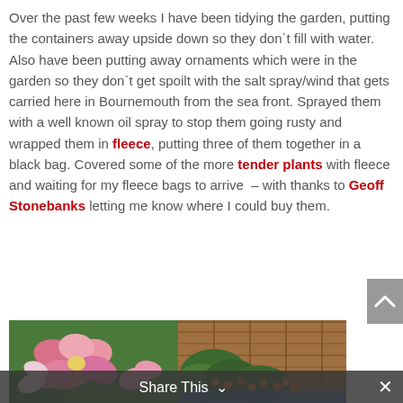Over the past few weeks I have been tidying the garden, putting the containers away upside down so they don`t fill with water.  Also have been putting away ornaments which were in the garden so they don`t get spoilt with the salt spray/wind that gets carried here in Bournemouth from the sea front. Sprayed them with a well known oil spray to stop them going rusty and wrapped them in fleece, putting three of them together in a black bag. Covered some of the more tender plants with fleece and waiting for my fleece bags to arrive  – with thanks to Geoff Stonebanks letting me know where I could buy them.
[Figure (photo): Two garden photos side by side: left shows pink flowers (possibly camellias or similar blooms) with green foliage; right shows a wooden fence with green shrubs and orange flowers in a garden border.]